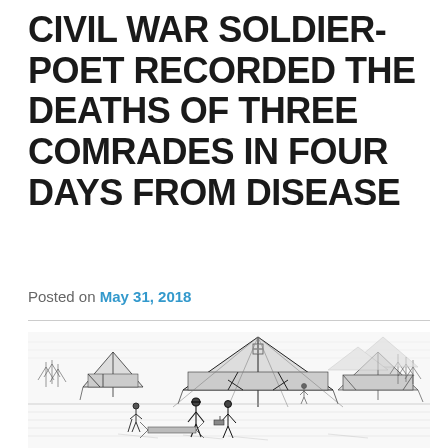CIVIL WAR SOLDIER-POET RECORDED THE DEATHS OF THREE COMRADES IN FOUR DAYS FROM DISEASE
Posted on May 31, 2018
[Figure (illustration): Black and white engraving/sketch of a Civil War military camp showing large canvas tents with a Red Cross symbol, soldiers walking in the foreground, trees in the background.]